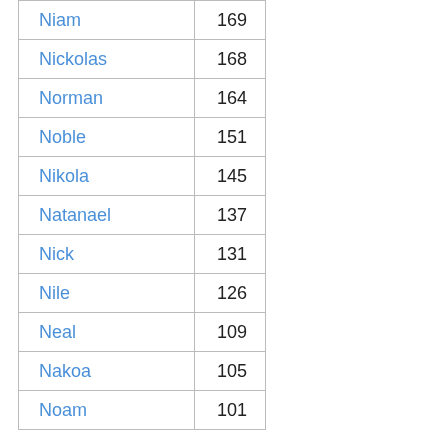| Niam | 169 |
| Nickolas | 168 |
| Norman | 164 |
| Noble | 151 |
| Nikola | 145 |
| Natanael | 137 |
| Nick | 131 |
| Nile | 126 |
| Neal | 109 |
| Nakoa | 105 |
| Noam | 101 |